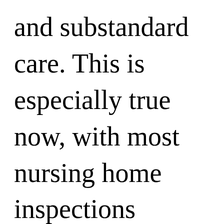and substandard care. This is especially true now, with most nursing home inspections suspended and in-